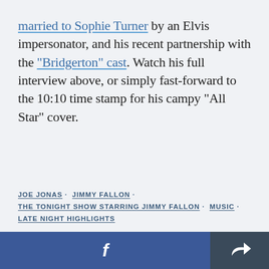married to Sophie Turner by an Elvis impersonator, and his recent partnership with the "Bridgerton" cast. Watch his full interview above, or simply fast-forward to the 10:10 time stamp for his campy "All Star" cover.
JOE JONAS · JIMMY FALLON ·
THE TONIGHT SHOW STARRING JIMMY FALLON · MUSIC ·
LATE NIGHT HIGHLIGHTS
Facebook share button | Share button